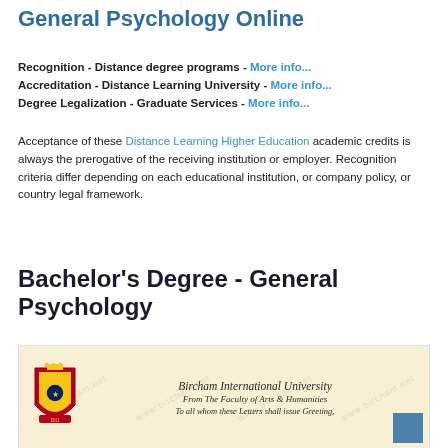General Psychology Online
Recognition - Distance degree programs - More info...
Accreditation - Distance Learning University - More info...
Degree Legalization - Graduate Services - More info...
Acceptance of these Distance Learning Higher Education academic credits is always the prerogative of the receiving institution or employer. Recognition criteria differ depending on each educational institution, or company policy, or country legal framework.
Bachelor's Degree - General Psychology
[Figure (photo): Bircham International University diploma certificate image showing a coat of arms on the left and the university name with Faculty of Arts & Humanities. Watermarked with www.bircham.net.]